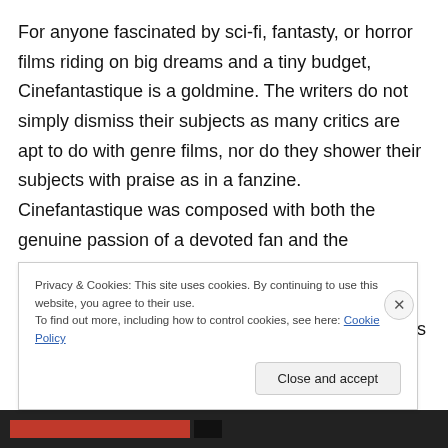For anyone fascinated by sci-fi, fantasty, or horror films riding on big dreams and a tiny budget, Cinefantastique is a goldmine. The writers do not simply dismiss their subjects as many critics are apt to do with genre films, nor do they shower their subjects with praise as in a fanzine. Cinefantastique was composed with both the genuine passion of a devoted fan and the thoughtful insight of a critic, resulting in an engaging editorial. Interviews, critiques, and in-depth explorations of special effects and prosthesis are complimented by film stills and behind-the-
Privacy & Cookies: This site uses cookies. By continuing to use this website, you agree to their use.
To find out more, including how to control cookies, see here: Cookie Policy
Close and accept